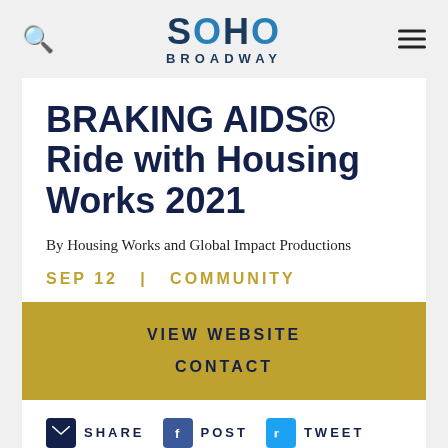[Figure (logo): Soho Broadway logo with search icon and hamburger menu]
BRAKING AIDS® Ride with Housing Works 2021
By Housing Works and Global Impact Productions
SEP 12  |  COMMUNITY
VIEW WEBSITE
CONTACT
SHARE  POST  TWEET